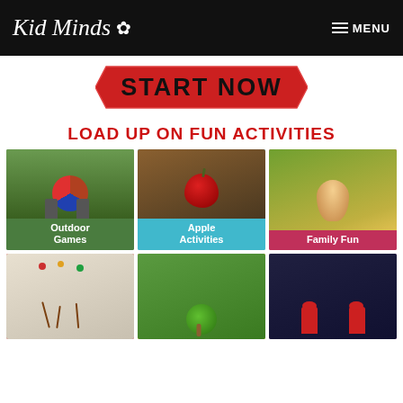Kid Minds — MENU
[Figure (infographic): Red banner button with text START NOW]
LOAD UP ON FUN ACTIVITIES
[Figure (photo): Outdoor Games: child's feet in sandals on patriotic tin can stilts on grass]
[Figure (photo): Apple Activities: close-up of red apple on wicker]
[Figure (photo): Family Fun: laughing girl in yellow flowers]
[Figure (photo): Art/craft activity: child painting a tree on paper]
[Figure (photo): Garden activity: child holding green plant]
[Figure (photo): Lego activity: red Lego figures]